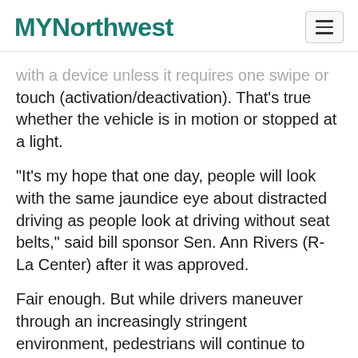MYNorthwest
with a device unless it requires one swipe or touch (activation/deactivation). That's true whether the vehicle is in motion or stopped at a light.
“It’s my hope that one day, people will look with the same jaundice eye about distracted driving as people look at driving without seat belts,” said bill sponsor Sen. Ann Rivers (R-La Center) after it was approved.
Fair enough. But while drivers maneuver through an increasingly stringent environment, pedestrians will continue to